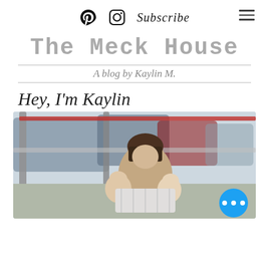Pinterest | Instagram | Subscribe [hamburger menu]
The Meck House
A blog by Kaylin M.
Hey, I'm Kaylin
[Figure (photo): A woman with brown hair holding two young children, sitting in what appears to be an open vehicle or cart, with cars and outdoor scenery in the background. A blue chat bubble with three dots is visible in the lower right corner.]